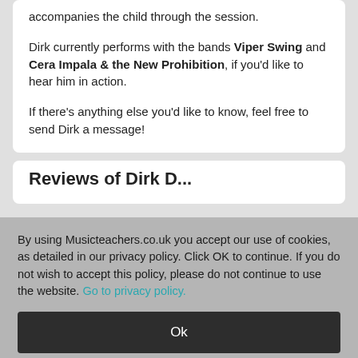accompanies the child through the session.
Dirk currently performs with the bands Viper Swing and Cera Impala & the New Prohibition, if you'd like to hear him in action.
If there's anything else you'd like to know, feel free to send Dirk a message!
Reviews of Dirk D...
By using Musicteachers.co.uk you accept our use of cookies, as detailed in our privacy policy. Click OK to continue. If you do not wish to accept this policy, please do not continue to use the website. Go to privacy policy.
Ok